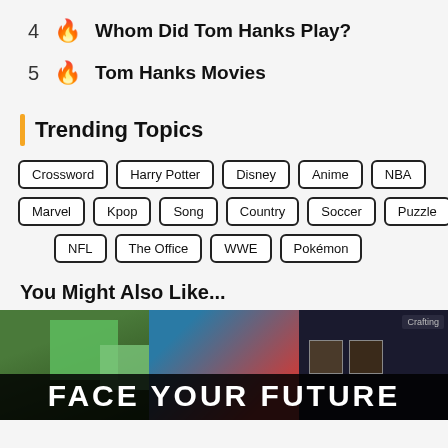4 🔥 Whom Did Tom Hanks Play?
5 🔥 Tom Hanks Movies
Trending Topics
Crossword  Harry Potter  Disney  Anime  NBA  Marvel  Kpop  Song  Country  Soccer  Puzzle  NFL  The Office  WWE  Pokémon
You Might Also Like...
[Figure (photo): Three thumbnail images side by side with overlay text FACE YOUR FUTURE]